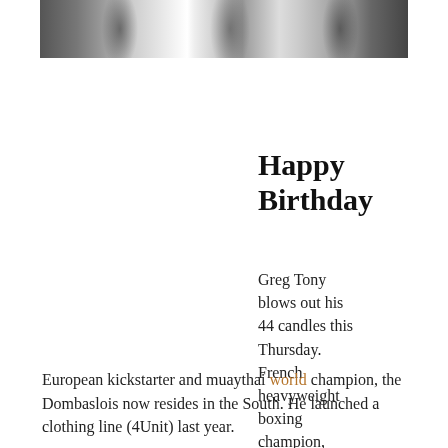[Figure (photo): Black and white photograph strip showing multiple people, cropped at top of page]
Happy Birthday
Greg Tony blows out his 44 candles this Thursday. French heavyweight boxing champion, European kickstarter and muaythai world champion, the Dombaslois now resides in the South. He launched a clothing line (4Unit) last year.